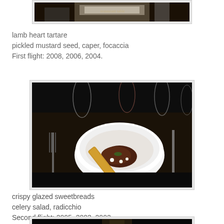[Figure (photo): Partial view of a restaurant table setting, top of page cutoff]
lamb heart tartare
pickled mustard seed, caper, focaccia
First flight: 2008, 2006, 2004.
[Figure (photo): A white bowl containing lamb heart tartare with a crispy focaccia stick diagonally placed, on a dark restaurant table with wine glasses and cutlery visible]
crispy glazed sweetbreads
celery salad, radicchio
Second flight: 2005, 2003, 2002.
[Figure (photo): Partial view of another dish, bottom of page cutoff]